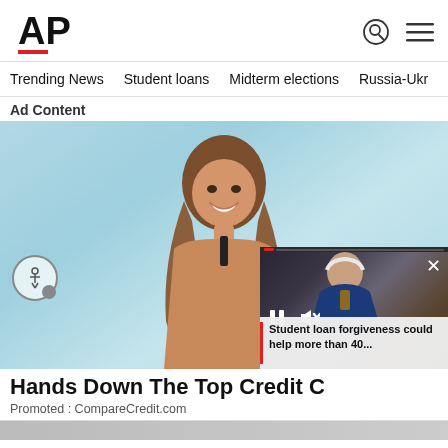[Figure (logo): AP (Associated Press) logo in bold black text with red underline bar]
Trending News   Student loans   Midterm elections   Russia-Ukr
Ad Content
[Figure (photo): Young woman smiling holding a credit card against a light blue background, advertisement for CompareCredit.com]
[Figure (screenshot): Video overlay in bottom right showing a man (Biden) speaking at a podium with pause and mute controls visible]
Student loan forgiveness could help more than 40...
Hands Down The Top Credit C
Promoted : CompareCredit.com